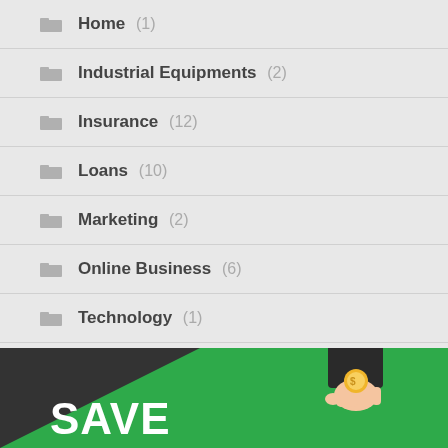Home (1)
Industrial Equipments (2)
Insurance (12)
Loans (10)
Marketing (2)
Online Business (6)
Technology (1)
Travel (1)
[Figure (illustration): Green banner with 'SAVE' text in white bold font and a hand holding a coin illustration on the right side, with a dark triangular shape on the upper-left of the banner.]